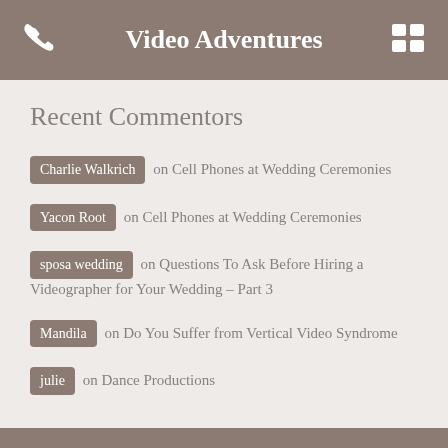Video Adventures
Recent Commentors
Charlie Walkrich on Cell Phones at Wedding Ceremonies
Yacon Root on Cell Phones at Wedding Ceremonies
sposa wedding on Questions To Ask Before Hiring a Videographer for Your Wedding – Part 3
Mandila on Do You Suffer from Vertical Video Syndrome
julie on Dance Productions